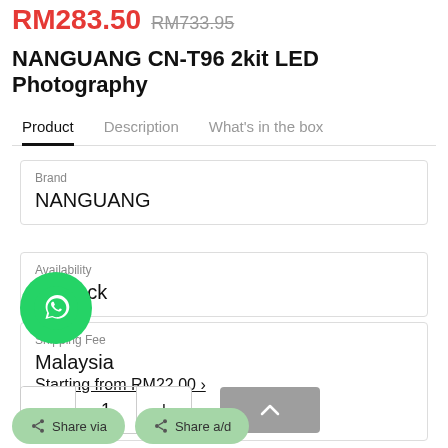RM283.50 RM733.95
NANGUANG CN-T96 2kit LED Photography
Product | Description | What's in the box
| Label | Value |
| --- | --- |
| Brand | NANGUANG |
| Availability | In Stock |
| Shipping Fee | Malaysia
Starting from RM22.00 > |
1
[Figure (logo): WhatsApp green circle button with phone icon]
Share via | Share a/d